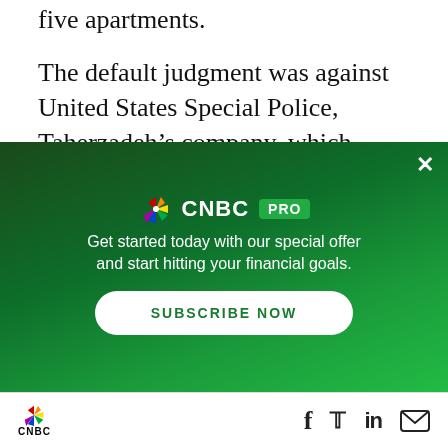five apartments.
The default judgment was against United States Special Police, Taherzadeh’s company, which never paid any rent for the apartments after leasing them in late 2020, according to a lawsuit.
The News With Shepard
[Figure (screenshot): CNBC PRO subscription overlay with green gradient background, CNBC peacock logo, PRO badge, tagline 'Get started today with our special offer and start hitting your financial goals.', and SUBSCRIBE NOW button]
CNBC logo with Facebook, Twitter, LinkedIn, and email share icons